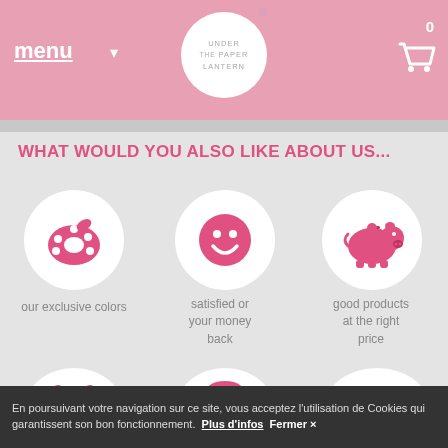menu  UNDER the PAPER LANTERN  0
WHAT WOULD YOU ALSO LIKE ABOUT US...
[Figure (illustration): Paint palette icon in pink inside white circle]
our exclusive colors
[Figure (illustration): Smiley face icon in pink inside white circle]
satisfied or your money back
[Figure (illustration): Piggy bank icon in pink inside white circle]
good products at the right price
[Figure (illustration): Alarm clock icon in pink inside white circle (partially visible)]
[Figure (illustration): Telephone icon in pink inside white circle (partially visible)]
[Figure (illustration): Delivery truck icon in pink inside white circle (partially visible)]
En poursuivant votre navigation sur ce site, vous acceptez l'utilisation de Cookies qui garantissent son bon fonctionnement.  Plus d'infos  Fermer ×